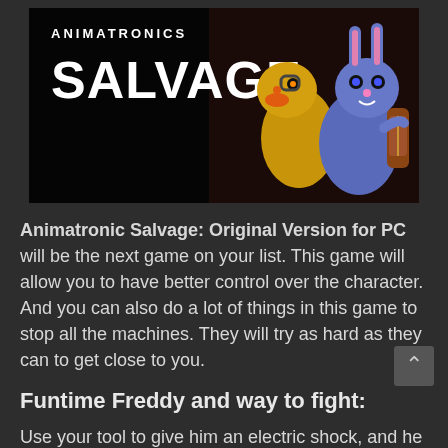[Figure (screenshot): Game title image for Animatronic Salvage showing the title text 'SALVAGE' in large white distressed font on black background, with animatronic characters (yellow duck, blue bunny) on the right side]
Animatronic Salvage: Original Version for PC will be the next game on your list. This game will allow you to have better control over the character. And you can also do a lot of things in this game to stop all the machines. They will try as hard as they can to get close to you.
Funtime Freddy and way to fight:
Use your tool to give him an electric shock, and he will never come back to you. This will